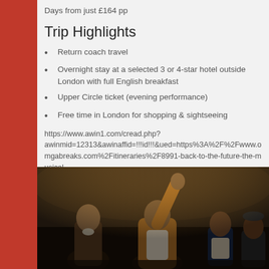Days from just £164 pp
Trip Highlights
Return coach travel
Overnight stay at a selected 3 or 4-star hotel outside London with full English breakfast
Upper Circle ticket (evening performance)
Free time in London for shopping & sightseeing
https://www.awin1.com/cread.php?awinmid=12313&awinaffid=!!!id!!!&ued=https%3A%2F%2Fwww.omgabreaks.com%2Fitineraries%2F8991-back-to-the-future-the-musical
[Figure (photo): Theatrical performance photo showing four actors on stage in period costumes, one with arm raised]